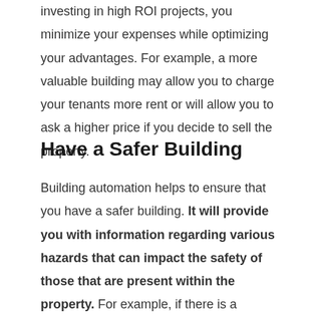investing in high ROI projects, you minimize your expenses while optimizing your advantages. For example, a more valuable building may allow you to charge your tenants more rent or will allow you to ask a higher price if you decide to sell the property.
Have a Safer Building
Building automation helps to ensure that you have a safer building. It will provide you with information regarding various hazards that can impact the safety of those that are present within the property. For example, if there is a problem with the electrical system, you will often receive alerts that will enable you to make the appropriate repairs to the building.